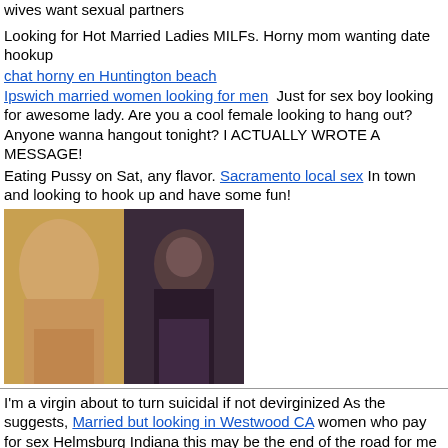wives want sexual partners
Looking for Hot Married Ladies MILFs. Horny mom wanting date hookup
chat horny en Huntington beach
Ipswich married women looking for men  Just for sex boy looking for awesome lady. Are you a cool female looking to hang out? Anyone wanna hangout tonight? I ACTUALLY WROTE A MESSAGE!
Eating Pussy on Sat, any flavor. Sacramento local sex In town and looking to hook up and have some fun!
[Figure (photo): Two adult photos side by side]
I'm a virgin about to turn suicidal if not devirginized As the suggests, Married but looking in Westwood CA women who pay for sex Helmsburg Indiana this may be the end of the road for me if nothing great happens in my life. I'm diagnosed with Aspergers (AKA high functioning ). My disability has made it difficult for me to go through a happy life leaving me feeling very depressed. I have no friends and my family has not been sympathizing my terrible condition. I feel like I am non existent to this world and feel that I might leave. However, I would feel a lot better if i meet someone